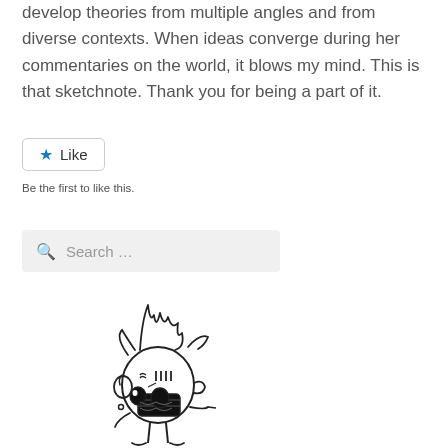develop theories from multiple angles and from diverse contexts.  When ideas converge during her commentaries on the world, it blows my mind.  This is that sketchnote.  Thank you for being a part of it.
[Figure (other): A Like button with a blue star icon and the text 'Like', followed by the caption 'Be the first to like this.']
Be the first to like this.
[Figure (other): A search input box with a magnifying glass icon and placeholder text 'Search ...']
[Figure (illustration): A hand-drawn sketch of a cartoon character with spiky hair and an expressive face, appearing to have large eyes and an open mouth, drawn in black ink on white background.]